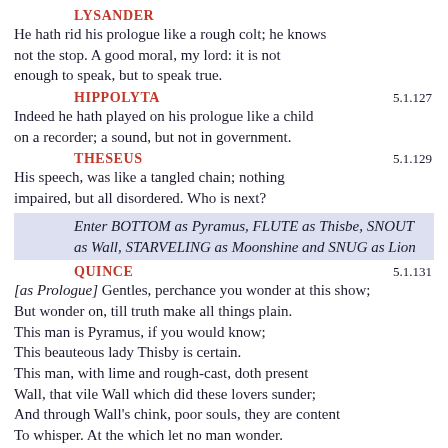LYSANDER
He hath rid his prologue like a rough colt; he knows not the stop. A good moral, my lord: it is not enough to speak, but to speak true.
HIPPOLYTA  5.1.127
Indeed he hath played on his prologue like a child on a recorder; a sound, but not in government.
THESEUS  5.1.129
His speech, was like a tangled chain; nothing impaired, but all disordered. Who is next?
Enter BOTTOM as Pyramus, FLUTE as Thisbe, SNOUT as Wall, STARVELING as Moonshine and SNUG as Lion
QUINCE  5.1.131
[as Prologue] Gentles, perchance you wonder at this show; But wonder on, till truth make all things plain. This man is Pyramus, if you would know; This beauteous lady Thisby is certain. This man, with lime and rough-cast, doth present Wall, that vile Wall which did these lovers sunder; And through Wall's chink, poor souls, they are content To whisper. At the which let no man wonder. This man, with lanthorn, dog, and bush of thorn, Presenteth Moonshine; for, if you will know, By moonshine did these lovers think no scorn To meet at Ninus' tomb, there, there, to woo,